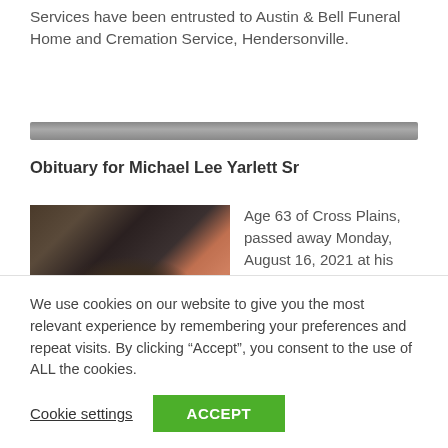Services have been entrusted to Austin & Bell Funeral Home and Cremation Service, Hendersonville.
Obituary for Michael Lee Yarlett Sr
[Figure (photo): Portrait photo of Michael Lee Yarlett Sr, an older man wearing glasses and a dark baseball cap, close-up shot.]
Age 63 of Cross Plains, passed away Monday, August 16, 2021 at his home. He was born April 14, 1958 in Ogden, UT to
We use cookies on our website to give you the most relevant experience by remembering your preferences and repeat visits. By clicking “Accept”, you consent to the use of ALL the cookies.
Cookie settings   ACCEPT